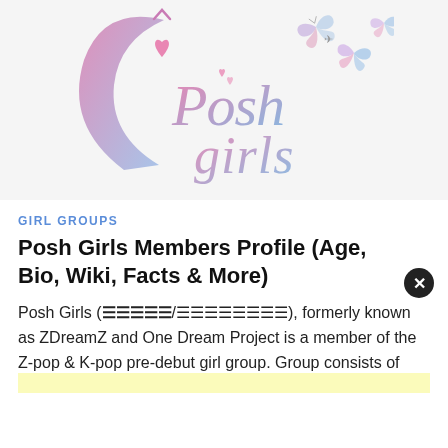[Figure (logo): Posh Girls logo with gradient pink-blue lettering, crescent moon shape, and butterfly illustrations]
GIRL GROUPS
Posh Girls Members Profile (Age, Bio, Wiki, Facts & More)
Posh Girls (포시걸스/원드림프로젝트), formerly known as ZDreamZ and One Dream Project is a member of the Z-pop & K-pop pre-debut girl group. Group consists of